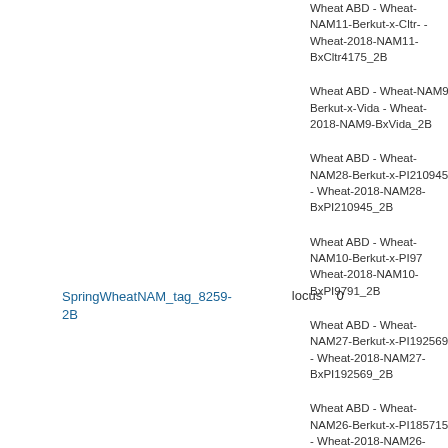Wheat ABD - Wheat-NAM11-Berkut-x-Citr- - Wheat-2018-NAM11-BxCltr4175_2B
Wheat ABD - Wheat-NAM9-Berkut-x-Vida - Wheat-2018-NAM9-BxVida_2B
Wheat ABD - Wheat-NAM28-Berkut-x-PI210945 - Wheat-2018-NAM28-BxPI210945_2B
Wheat ABD - Wheat-NAM10-Berkut-x-PI9791 - Wheat-2018-NAM10-BxPI9791_2B
SpringWheatNAM_tag_8259-2B   locus   0
Wheat ABD - Wheat-NAM27-Berkut-x-PI192569 - Wheat-2018-NAM27-BxPI192569_2B
Wheat ABD - Wheat-NAM26-Berkut-x-PI185715 - Wheat-2018-NAM26-BxPI185715_2B
Wheat ABD - Wheat-NAM20-Berkut-x-PI2...